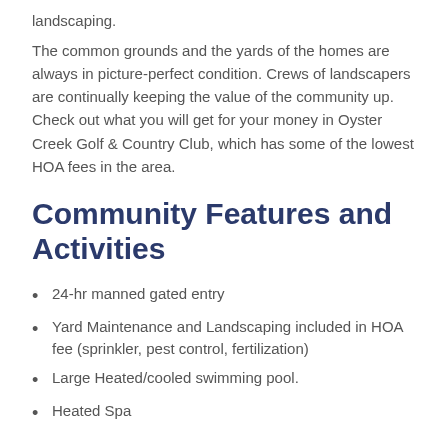landscaping.
The common grounds and the yards of the homes are always in picture-perfect condition. Crews of landscapers are continually keeping the value of the community up. Check out what you will get for your money in Oyster Creek Golf & Country Club, which has some of the lowest HOA fees in the area.
Community Features and Activities
24-hr manned gated entry
Yard Maintenance and Landscaping included in HOA fee (sprinkler, pest control, fertilization)
Large Heated/cooled swimming pool.
Heated Spa